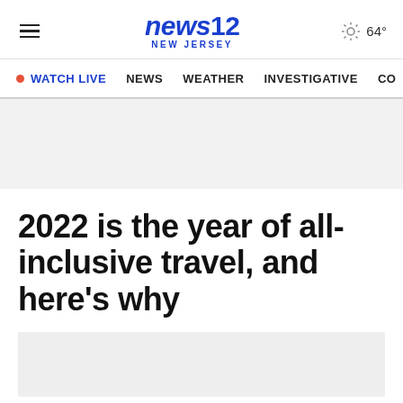news12 NEW JERSEY | 64°
WATCH LIVE  NEWS  WEATHER  INVESTIGATIVE  CO
[Figure (other): Advertisement banner placeholder (gray rectangle)]
2022 is the year of all-inclusive travel, and here's why
[Figure (other): Advertisement banner placeholder (gray rectangle) at bottom of page]